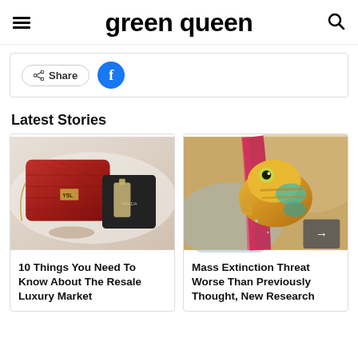green queen
[Figure (screenshot): Share bar with Share button and Facebook icon button]
Latest Stories
[Figure (photo): Red YSL quilted leather handbag with Prada accessories and perfume on white background]
10 Things You Need To Know About The Resale Luxury Market
[Figure (photo): Close-up of a colorful yellow and teal tree frog clinging to a red tropical flower]
Mass Extinction Threat Worse Than Previously Thought, New Research